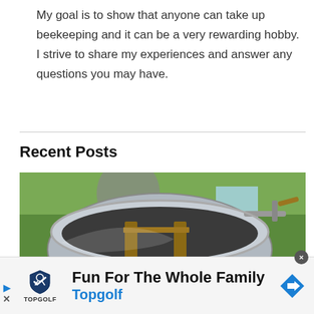My goal is to show that anyone can take up beekeeping and it can be a very rewarding hobby. I strive to share my experiences and answer any questions you may have.
Recent Posts
[Figure (photo): A honey extractor or beekeeping equipment — a large stainless steel barrel/drum with a frame and handle, photographed outdoors on grass with a person in beekeeping gear in the background.]
Fun For The Whole Family
Topgolf